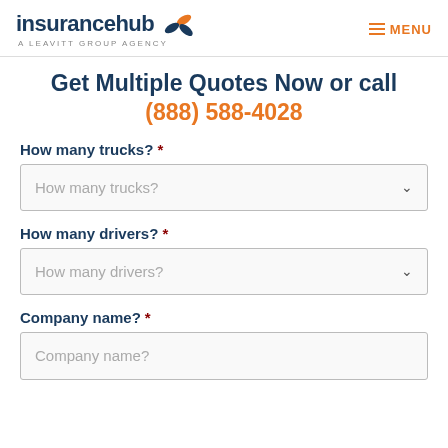insurancehub | A LEAVITT GROUP AGENCY | MENU
Get Multiple Quotes Now or call (888) 588-4028
How many trucks? *
How many trucks? [dropdown]
How many drivers? *
How many drivers? [dropdown]
Company name? *
Company name? [input]